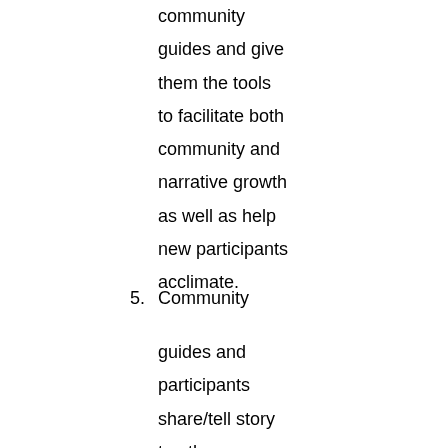community guides and give them the tools to facilitate both community and narrative growth as well as help new participants acclimate.
5. Community guides and participants share/tell story to others, inviting them to join the community while also...